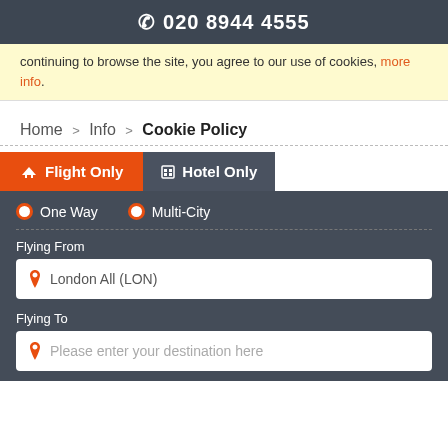📞 020 8944 4555
continuing to browse the site, you agree to our use of cookies, more info.
Home > Info > Cookie Policy
Flight Only | Hotel Only
One Way   Multi-City
Flying From
London All (LON)
Flying To
Please enter your destination here